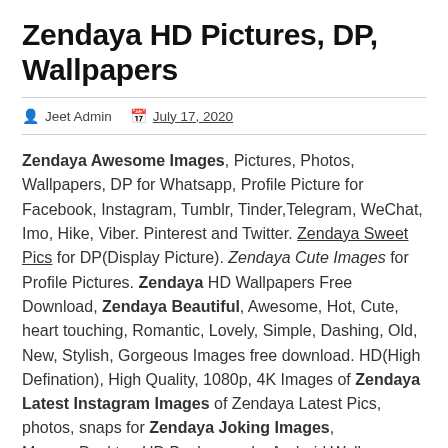Zendaya HD Pictures, DP, Wallpapers
Jeet Admin  July 17, 2020
Zendaya Awesome Images, Pictures, Photos, Wallpapers, DP for Whatsapp, Profile Picture for Facebook, Instagram, Tumblr, Tinder,Telegram, WeChat, Imo, Hike, Viber. Pinterest and Twitter. Zendaya Sweet Pics for DP(Display Picture). Zendaya Cute Images for Profile Pictures. Zendaya HD Wallpapers Free Download, Zendaya Beautiful, Awesome, Hot, Cute, heart touching, Romantic, Lovely, Simple, Dashing, Old, New, Stylish, Gorgeous Images free download. HD(High Defination), High Quality, 1080p, 4K Images of Zendaya Latest Instagram Images of Zendaya Latest Pics, photos, snaps for Zendaya Joking Images, Memes,Desktop HD Backgrounds, Android Wallpaper, iPhone Wallpaper, iPad or Tablet Wallpapers of Zendaya.